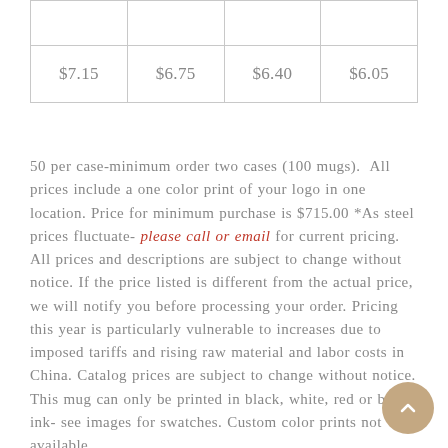|  |  |  |  |
| $7.15 | $6.75 | $6.40 | $6.05 |
50 per case-minimum order two cases (100 mugs).  All prices include a one color print of your logo in one location. Price for minimum purchase is $715.00 *As steel prices fluctuate- please call or email for current pricing. All prices and descriptions are subject to change without notice. If the price listed is different from the actual price, we will notify you before processing your order. Pricing this year is particularly vulnerable to increases due to imposed tariffs and rising raw material and labor costs in China. Catalog prices are subject to change without notice.
This mug can only be printed in black, white, red or blue ink- see images for swatches. Custom color prints not available.